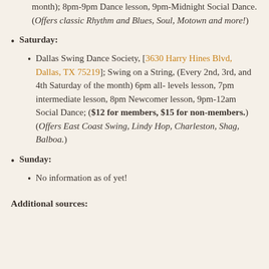month); 8pm-9pm Dance lesson, 9pm-Midnight Social Dance. (Offers classic Rhythm and Blues, Soul, Motown and more!)
Saturday:
Dallas Swing Dance Society, [3630 Harry Hines Blvd, Dallas, TX 75219]; Swing on a String, (Every 2nd, 3rd, and 4th Saturday of the month) 6pm all- levels lesson, 7pm intermediate lesson, 8pm Newcomer lesson, 9pm-12am Social Dance; ($12 for members, $15 for non-members.) (Offers East Coast Swing, Lindy Hop, Charleston, Shag, Balboa.)
Sunday:
No information as of yet!
Additional sources: